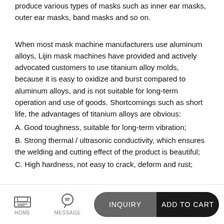produce various types of masks such as inner ear masks, outer ear masks, band masks and so on.
When most mask machine manufacturers use aluminum alloys, Lijin mask machines have provided and actively advocated customers to use titanium alloy molds, because it is easy to oxidize and burst compared to aluminum alloys, and is not suitable for long-term operation and use of goods. Shortcomings such as short life, the advantages of titanium alloys are obvious:
A. Good toughness, suitable for long-term vibration;
B. Strong thermal / ultrasonic conductivity, which ensures the welding and cutting effect of the product is beautiful;
C. High hardness, not easy to crack, deform and rust;
HOME | MESSAGE | INQUIRY | ADD TO CART